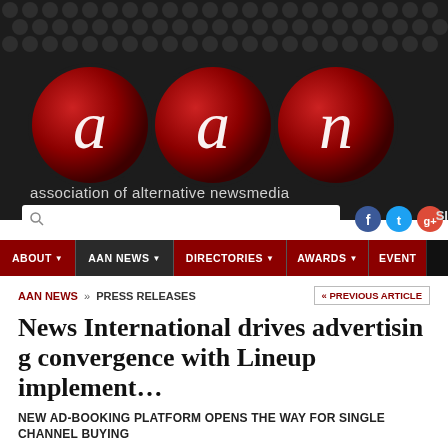[Figure (logo): AAN (Association of Alternative Newsmedia) website header with dark background dot pattern, three red circular logo buttons with italic letters a, a, n]
association of alternative newsmedia
ABOUT  AAN NEWS  DIRECTORIES  AWARDS  EVENTS
AAN NEWS » PRESS RELEASES
« PREVIOUS ARTICLE
News International drives advertising convergence with Lineup implementation
NEW AD-BOOKING PLATFORM OPENS THE WAY FOR SINGLE CHANNEL BUYING
MAY 1, 2013  01:04 PM